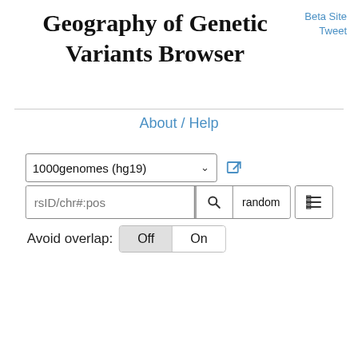Geography of Genetic Variants Browser
Beta Site Tweet
About / Help
[Figure (screenshot): Web browser UI with dropdown selector '1000genomes (hg19)', search input 'rsID/chr#:pos', search button, random button, list button, and Avoid overlap Off/On toggle.]